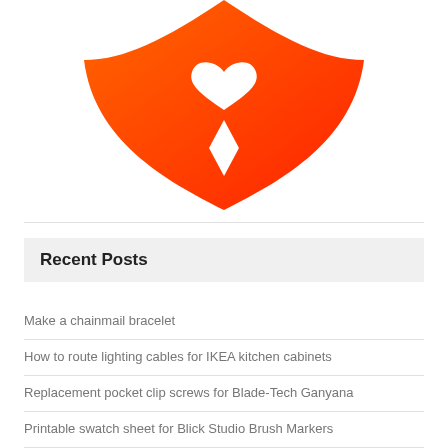[Figure (logo): Orange shield-shaped logo with white heart cutout at top and white diamond/rhombus cutout in center, on white background]
Recent Posts
Make a chainmail bracelet
How to route lighting cables for IKEA kitchen cabinets
Replacement pocket clip screws for Blade-Tech Ganyana
Printable swatch sheet for Blick Studio Brush Markers
Callots for stencil base...